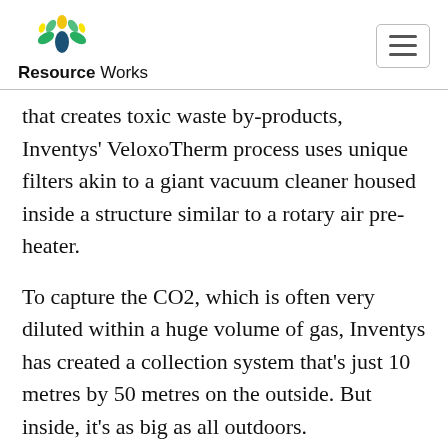Resource Works
that creates toxic waste by-products, Inventys' VeloxoTherm process uses unique filters akin to a giant vacuum cleaner housed inside a structure similar to a rotary air pre-heater.
To capture the CO2, which is often very diluted within a huge volume of gas, Inventys has created a collection system that's just 10 metres by 50 metres on the outside. But inside, it's as big as all outdoors.
"In that small machine, we have the equivalent of the surface area of 1.5 times the size of Vancouver Island," says Claude Letourneau, Inventys President and CEO. "That's cool, eh?"